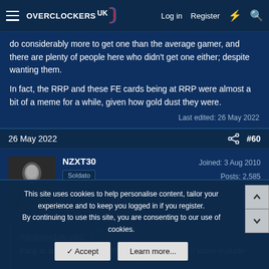Overclockers UK — Log in  Register
do considerably more to get one than the average gamer, and there are plenty of people here who didn't get one either; despite wanting them.

In fact, the RRP and these FE cards being at RRP were almost a bit of a meme for a while, given how gold dust they were.
Last edited: 26 May 2022
26 May 2022  #60
NZXT30
Soldato
Joined: 3 Aug 2010
Posts: 2,585
Alexrose1uk said:
Easy to say that but those FE were like gold dust. I know multiple
This site uses cookies to help personalise content, tailor your experience and to keep you logged in if you register.
By continuing to use this site, you are consenting to our use of cookies.